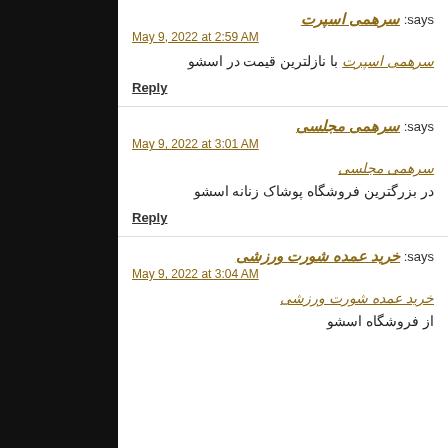سرهمی اسپرت says:
May 9, 2022 at 2:59 AM
سرهمی اسپرت با نازلترین قیمت در اسشو
Reply
سرهمی مجلسی says:
May 9, 2022 at 3:01 AM
سرهمی مجلسی
در بزرگترین فروشگاه پوشاک زنانه اسشو
Reply
خرید عمده شورت ورزشی says:
May 9, 2022 at 3:04 AM
خرید عمده شورت ورزشی
از فروشگاه اسشو